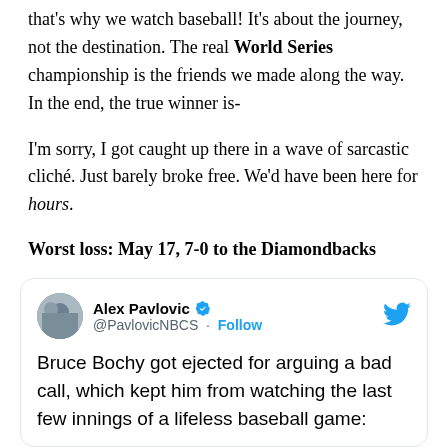that's why we watch baseball! It's about the journey, not the destination. The real World Series championship is the friends we made along the way. In the end, the true winner is-
I'm sorry, I got caught up there in a wave of sarcastic cliché. Just barely broke free. We'd have been here for hours.
Worst loss: May 17, 7-0 to the Diamondbacks
[Figure (screenshot): Embedded tweet from @PavlovicNBCS (Alex Pavlovic) with verified badge and Twitter bird logo. Tweet text: 'Bruce Bochy got ejected for arguing a bad call, which kept him from watching the last few innings of a lifeless baseball game:']